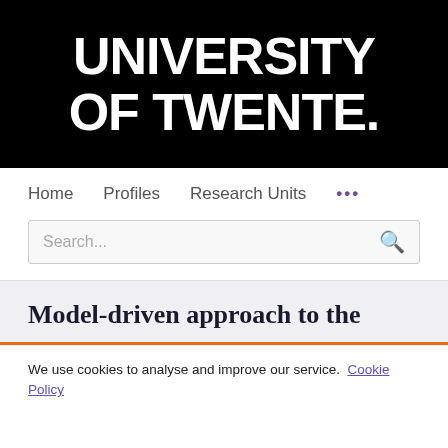[Figure (logo): University of Twente logo: white bold text 'UNIVERSITY OF TWENTE.' on black background]
Home   Profiles   Research Units   ...
Search...
Model-driven approach to the
We use cookies to analyse and improve our service. Cookie Policy